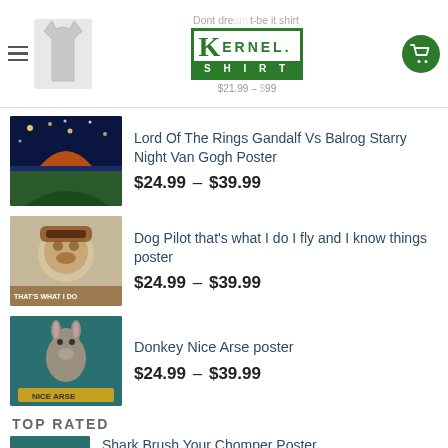Dont drea... t-shirt $21.99 - ...99 | KERNEL SHIRT logo | cart
Lord Of The Rings Gandalf Vs Balrog Starry Night Van Gogh Poster $24.99 – $39.99
Dog Pilot that's what I do I fly and I know things poster $24.99 – $39.99
Donkey Nice Arse poster $24.99 – $39.99
TOP RATED
Shark Brush Your Chomper Poster